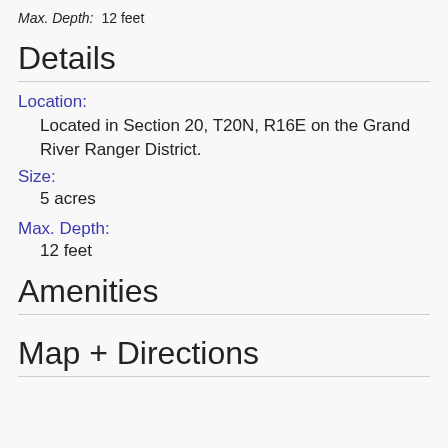Max. Depth: 12 feet
Details
Location:
Located in Section 20, T20N, R16E on the Grand River Ranger District.
Size:
5 acres
Max. Depth:
12 feet
Amenities
Map + Directions